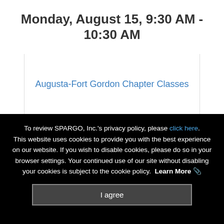Monday, August 15, 9:30 AM - 10:30 AM
Augusta-Fort Gordon Chapter Classes
To review SPARGO, Inc.'s privacy policy, please click here. This website uses cookies to provide you with the best experience on our website. If you wish to disable cookies, please do so in your browser settings. Your continued use of our site without disabling your cookies is subject to the cookie policy. Learn More
I agree
Chapter Golf Tournament